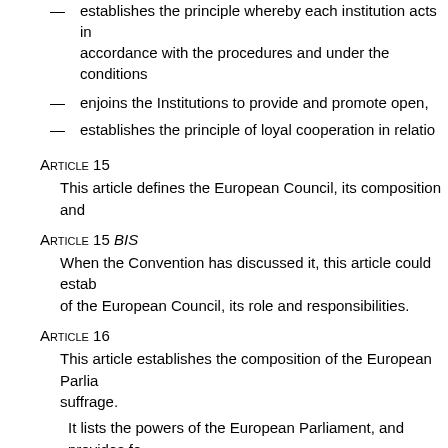— establishes the principle whereby each institution acts in accordance with the procedures and under the conditions
— enjoins the Institutions to provide and promote open,
— establishes the principle of loyal cooperation in relatio
Article 15
This article defines the European Council, its composition and
Article 15 BIS
When the Convention has discussed it, this article could estab of the European Council, its role and responsibilities.
Article 16
This article establishes the composition of the European Parlia suffrage.
It lists the powers of the European Parliament, and provides fo censure on the activities of the Commission, and the procedure
Article 17
This article lists the composition and the duties of the Council,
Article 17 BIS
This provision establishes the rule governing the appointment of office.